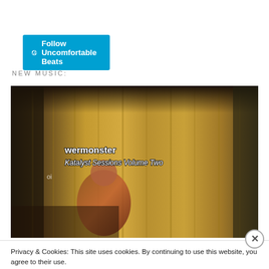[Figure (screenshot): WordPress Follow button: blue rounded button with WordPress logo icon and text 'Follow Uncomfortable Beats']
NEW MUSIC:
[Figure (photo): Album art for 'wermonster - Katalyst Sessions Volume Two'. Dark warm-toned photo with yellow/amber curtains in the background and a figure in the scene. Text overlay shows artist name 'wermonster' in white bold text and album title 'Katalyst Sessions Volume Two' in white italic below it.]
Privacy & Cookies: This site uses cookies. By continuing to use this website, you agree to their use.
To find out more, including how to control cookies, see here: Cookie Policy
Close and accept